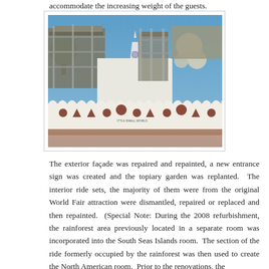accommodate the increasing weight of the guests.
[Figure (photo): Photograph of 'It's a Small World' attraction exterior under renovation/refurbishment, showing scaffolding and tarps covering large portions of the facade, with the decorative white facade with geometric shapes visible at the bottom.]
The exterior façade was repaired and repainted, a new entrance sign was created and the topiary garden was replanted.  The interior ride sets, the majority of them were from the original World Fair attraction were dismantled, repaired or replaced and then repainted.  (Special Note: During the 2008 refurbishment, the rainforest area previously located in a separate room was incorporated into the South Seas Islands room.  The section of the ride formerly occupied by the rainforest was then used to create the North American room.  Prior to the renovations, the